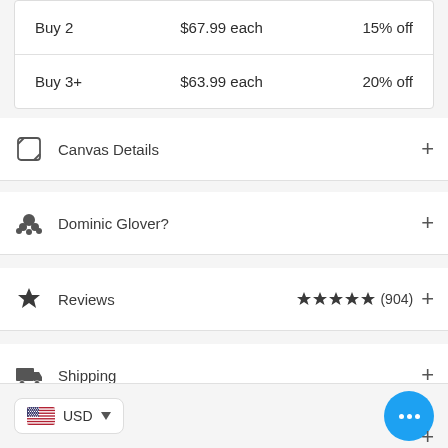|  |  |  |
| --- | --- | --- |
| Buy 2 | $67.99 each | 15% off |
| Buy 3+ | $63.99 each | 20% off |
Canvas Details
Dominic Glover?
Reviews ★★★★★ (904)
Shipping